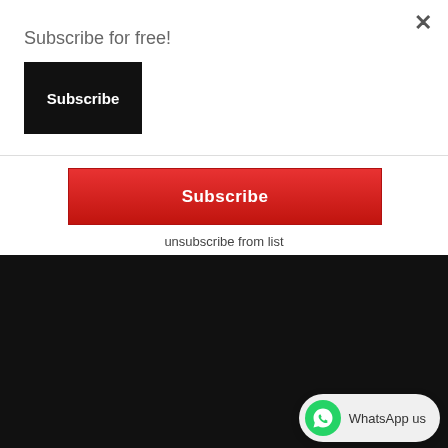Subscribe for free!
Subscribe
Subscribe
unsubscribe from list
RECENT | POPULAR | COMMENTS
Colombian Fashion Designer Faces 25 Years In Prison For Smuggling Purses Made From Wi... The US
[Figure (photo): Thumbnail image of people in yellow jackets, likely a news photo]
WhatsApp us